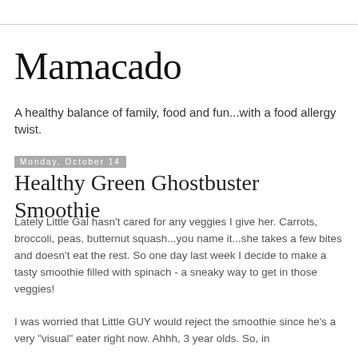Mamacado
A healthy balance of family, food and fun...with a food allergy twist.
Monday, October 14
Healthy Green Ghostbuster Smoothie
Lately Little Gal hasn't cared for any veggies I give her. Carrots, broccoli, peas, butternut squash...you name it...she takes a few bites and doesn't eat the rest. So one day last week I decide to make a tasty smoothie filled with spinach - a sneaky way to get in those veggies!
I was worried that Little GUY would reject the smoothie since he's a very "visual" eater right now. Ahhh, 3 year olds. So, in